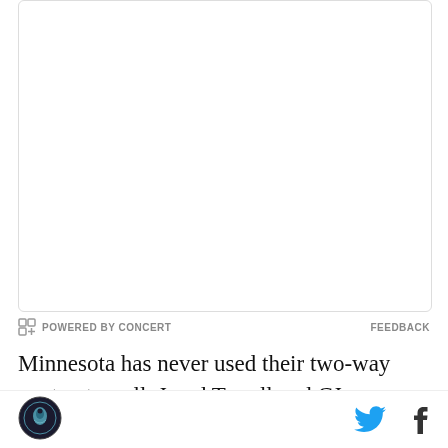[Figure (other): Advertisement placeholder box, white with light border]
POWERED BY CONCERT    FEEDBACK
Minnesota has never used their two-way contracts well. Jared Terrell and CJ Williams didn't add much last season, which had become the norm since two-ways were created. With Reid, they have given themselves a real shot at landing a future piece while having the luxury of grooming him with the Iowa Wolves.

He is certainly one to keep an eye on throughout the
[Figure (logo): Site logo circular icon with bird/basketball imagery, bottom left]
[Figure (other): Twitter and Facebook social media icons, bottom right]